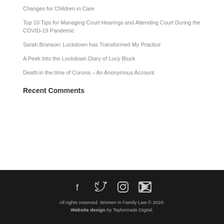Changes for Children in Care
Top 10 Tips for Managing Court Hearings and Attending Court During the COVID-19 Pandemic
Sarah Branson: Lockdown has Transformed My Practice
A Peek Into the Lockdown Diary of Lucy Bluck
Death in the time of Corona – An Anonymous Account
Recent Comments
All rights reserved. Women in Family Law © 2020. Website design by Taylormade Digital.